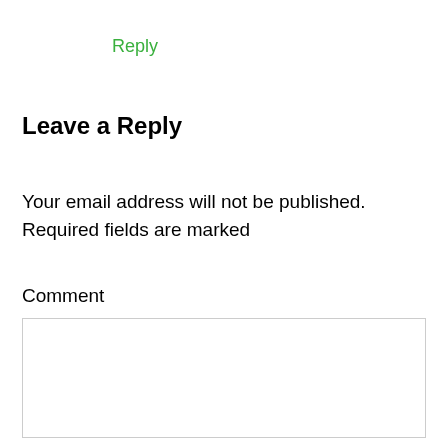Reply
Leave a Reply
Your email address will not be published. Required fields are marked
Comment